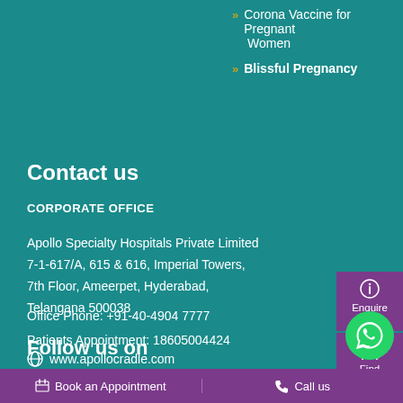» Corona Vaccine for Pregnant Women
» Blissful Pregnancy
Contact us
CORPORATE OFFICE
Apollo Specialty Hospitals Private Limited
7-1-617/A, 615 & 616, Imperial Towers,
7th Floor, Ameerpet, Hyderabad,
Telangana 500038
Office Phone: +91-40-4904 7777
Patients Appointment: 18605004424
www.apollocradle.com
contactus@apollocradle.com
Follow us on
[Figure (infographic): Enquire Now button with info icon]
[Figure (infographic): Find Doctor button with doctor icon]
[Figure (infographic): WhatsApp chat button - green circle with WhatsApp logo]
Book an Appointment   Call us